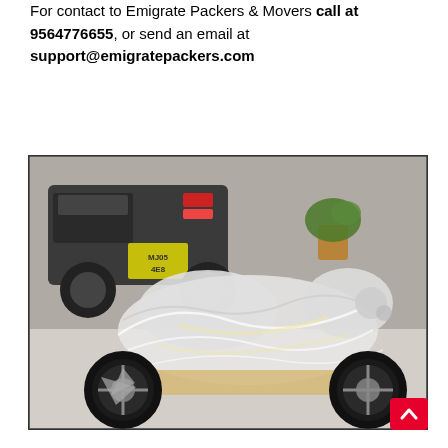For contact to Emigrate Packers & Movers call at 9564776655, or send an email at support@emigratepackers.com
[Figure (photo): A motorcycle wrapped in clear plastic/cling wrap for moving/transport, parked on a paved surface. A dark vehicle is visible in the background along with a potted plant.]